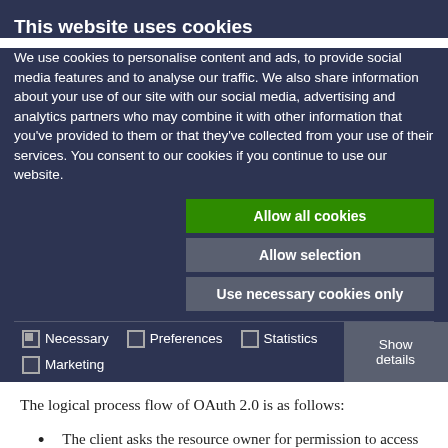This website uses cookies
We use cookies to personalise content and ads, to provide social media features and to analyse our traffic. We also share information about your use of our site with our social media, advertising and analytics partners who may combine it with other information that you've provided to them or that they've collected from your use of their services. You consent to our cookies if you continue to use our website.
Allow all cookies
Allow selection
Use necessary cookies only
Necessary   Preferences   Statistics   Marketing   Show details
The logical process flow of OAuth 2.0 is as follows:
The client asks the resource owner for permission to access the resources on their behalf. The client represents the calling application. The resource owner allows the client to make the request.